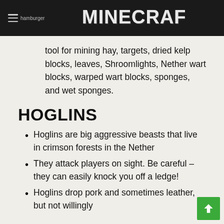hamburger  MINECRAFT
tool for mining hay, targets, dried kelp blocks, leaves, Shroomlights, Nether wart blocks, warped wart blocks, sponges, and wet sponges.
HOGLINS
Hoglins are big aggressive beasts that live in crimson forests in the Nether
They attack players on sight. Be careful – they can easily knock you off a ledge!
Hoglins drop pork and sometimes leather, but not willingly